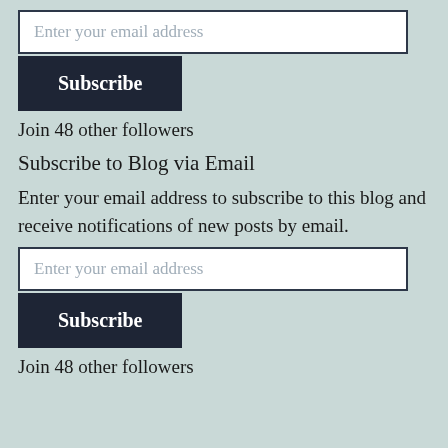Enter your email address
Subscribe
Join 48 other followers
Subscribe to Blog via Email
Enter your email address to subscribe to this blog and receive notifications of new posts by email.
Enter your email address
Subscribe
Join 48 other followers